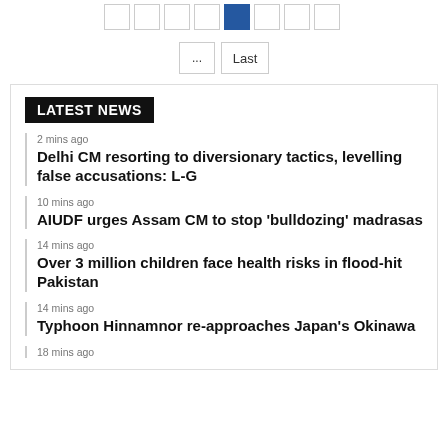Pagination: ... Last
LATEST NEWS
2 mins ago
Delhi CM resorting to diversionary tactics, levelling false accusations: L-G
10 mins ago
AIUDF urges Assam CM to stop 'bulldozing' madrasas
14 mins ago
Over 3 million children face health risks in flood-hit Pakistan
14 mins ago
Typhoon Hinnamnor re-approaches Japan's Okinawa
18 mins ago